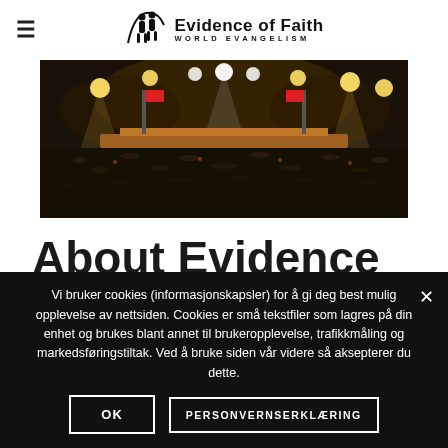Evidence of Faith WORLD EVANGELISM
[Figure (photo): Aerial panoramic photo of a large nighttime outdoor evangelism event with crowds of thousands of people, bright stage lights, and banners visible.]
About Evidence Of Faith
Vi bruker cookies (informasjonskapsler) for å gi deg best mulig opplevelse av nettsiden. Cookies er små tekstfiler som lagres på din enhet og brukes blant annet til brukeropplevelse, trafikkmåling og markedsføringstiltak. Ved å bruke siden vår videre så aksepterer du dette.
OK   PERSONVERNSERKLÆRING